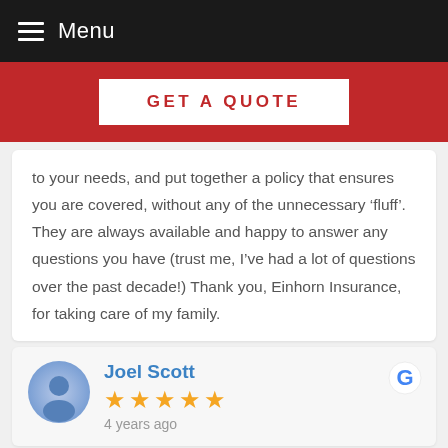Menu
[Figure (other): GET A QUOTE button on red banner]
to your needs, and put together a policy that ensures you are covered, without any of the unnecessary ‘fluff’. They are always available and happy to answer any questions you have (trust me, I’ve had a lot of questions over the past decade!) Thank you, Einhorn Insurance, for taking care of my family.
Joel Scott
★★★★★
4 years ago